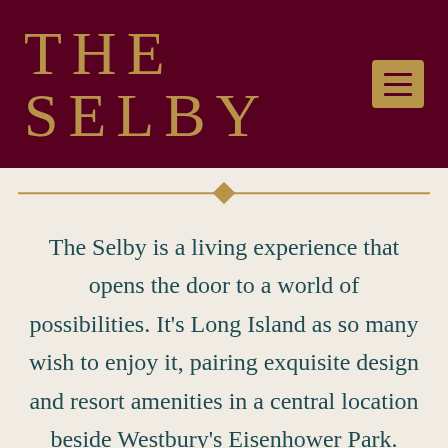THE SELBY
The Selby is a living experience that opens the door to a world of possibilities. It’s Long Island as so many wish to enjoy it, pairing exquisite design and resort amenities in a central location beside Westbury’s Eisenhower Park. Featuring extraordinary apartments for lease, The Selby offers a